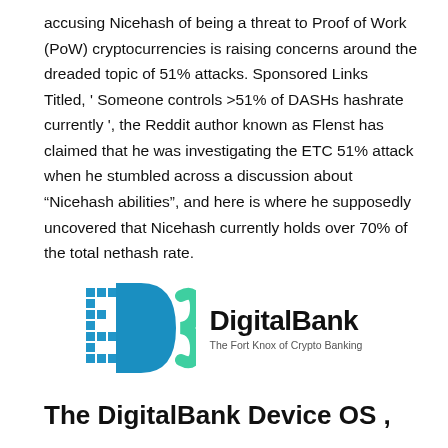accusing Nicehash of being a threat to Proof of Work (PoW) cryptocurrencies is raising concerns around the dreaded topic of 51% attacks. Sponsored Links Titled, ' Someone controls >51% of DASHs hashrate currently ', the Reddit author known as Flenst has claimed that he was investigating the ETC 51% attack when he stumbled across a discussion about "Nicehash abilities", and here is where he supposedly uncovered that Nicehash currently holds over 70% of the total nethash rate.
[Figure (logo): DigitalBank logo — stylized 'DB' letters in blue and teal/green gradient with pixel-art dots on the D, beside the text 'DigitalBank' in bold black and tagline 'The Fort Knox of Crypto Banking']
The DigitalBank Device OS ,